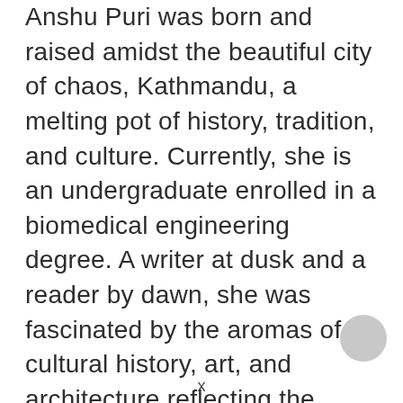Anshu Puri was born and raised amidst the beautiful city of chaos, Kathmandu, a melting pot of history, tradition, and culture. Currently, she is an undergraduate enrolled in a biomedical engineering degree. A writer at dusk and a reader by dawn, she was fascinated by the aromas of cultural history, art, and architecture reflecting the glorious past. Not a burden but an illumination to the soul, she construes history as a guide throughout perilous times.
x